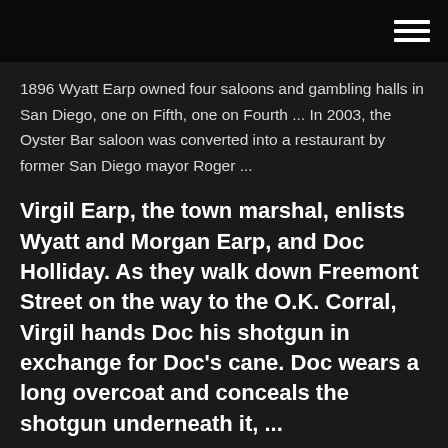1896 Wyatt Earp owned four saloons and gambling halls in San Diego, one on Fifth, one on Fourth ... In 2003, the Oyster Bar saloon was converted into a restaurant by former San Diego mayor Roger ...
Virgil Earp, the town marshal, enlists Wyatt and Morgan Earp, and Doc Holliday. As they walk down Freemont Street on the way to the O.K. Corral, Virgil hands Doc his shotgun in exchange for Doc's cane. Doc wears a long overcoat and conceals the shotgun underneath it, ...
The Midnight Star was a casino in Deadwood owned by American film actor Kevin Costner. The casino opened in